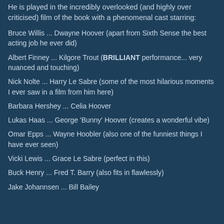He is played in the incredibly overlooked (and highly over criticised) film of the book with a phenomenal cast starring:
Bruce Willis ... Dwayne Hoover (apart from Sixth Sense the best acting job he ever did)
Albert Finney ... Kilgore Trout (BRILLIANT performance... very nuanced and touching)
Nick Nolte ... Harry Le Sabre (some of the most hilarious moments I ever saw in a film from him here)
Barbara Hershey ... Celia Hoover
Lukas Haas ... George 'Bunny' Hoover (creates a wonderful vibe)
Omar Epps ... Wayne Hoobler (also one of the funniest things I have ever seen)
Vicki Lewis ... Grace Le Sabre (perfect in this)
Buck Henry ... Fred T. Barry (also fits in flawlessly)
Jake Johannsen ... Bill Bailey